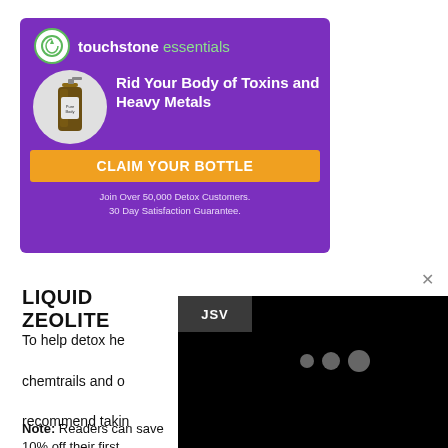[Figure (illustration): Touchstone Essentials advertisement banner with purple background, product bottle image, tagline 'Rid Your Body of Toxins and Heavy Metals', orange CTA button 'CLAIM YOUR BOTTLE', and footer text 'Join Over 50,000 Detox Customers. 30 Day Satisfaction Guarantee.']
[Figure (screenshot): Black popup overlay with JSV label and three loading dots]
LIQUID ZEOLITE
To help detox heavy metals, chemtrails and other toxins, we recommend taking a high quality liquid zeolite product.
Note: Readers can save 10% off their first